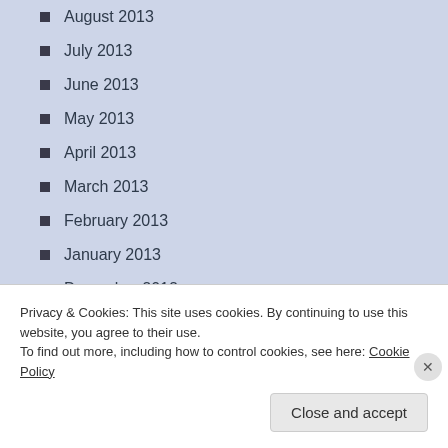August 2013
July 2013
June 2013
May 2013
April 2013
March 2013
February 2013
January 2013
December 2012
November 2012
October 2012
Privacy & Cookies: This site uses cookies. By continuing to use this website, you agree to their use.
To find out more, including how to control cookies, see here: Cookie Policy
Close and accept